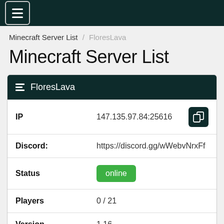☰
Minecraft Server List / FloresLava
Minecraft Server List
| Field | Value |
| --- | --- |
| IP | 147.135.97.84:25616 |
| Discord: | https://discord.gg/wWebvNrxFf |
| Status | online |
| Players | 0 / 21 |
| Version | 1.16 |